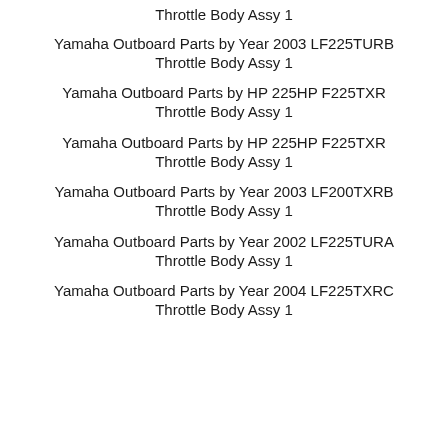Throttle Body Assy 1
Yamaha Outboard Parts by Year 2003 LF225TURB Throttle Body Assy 1
Yamaha Outboard Parts by HP 225HP F225TXR Throttle Body Assy 1
Yamaha Outboard Parts by HP 225HP F225TXR Throttle Body Assy 1
Yamaha Outboard Parts by Year 2003 LF200TXRB Throttle Body Assy 1
Yamaha Outboard Parts by Year 2002 LF225TURA Throttle Body Assy 1
Yamaha Outboard Parts by Year 2004 LF225TXRC Throttle Body Assy 1